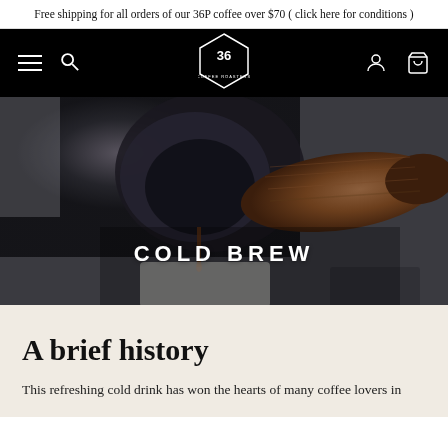Free shipping for all orders of our 36P coffee over $70 ( click here for conditions )
[Figure (screenshot): Black navigation bar with hamburger menu, search icon, 36 coffee diamond logo in center, user account icon and cart icon on right]
[Figure (photo): Close-up photo of a coffee espresso machine portafilter with wooden handle, coffee dripping, with overlay text COLD BREW]
A brief history
This refreshing cold drink has won the hearts of many coffee lovers in